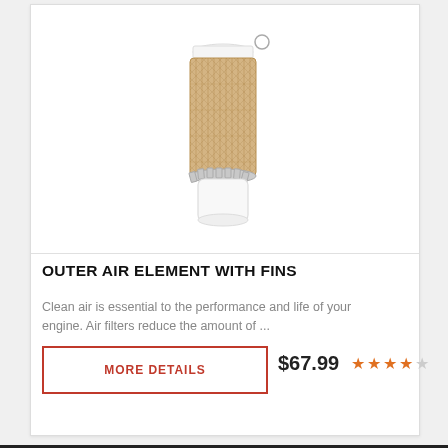[Figure (photo): Cylindrical outer air element filter with fins — tan/beige pleated paper filter body with white plastic end cap at bottom and small white cap on top, plus a small circular clip near the top.]
OUTER AIR ELEMENT WITH FINS
Clean air is essential to the performance and life of your engine. Air filters reduce the amount of ...
MORE DETAILS
$67.99